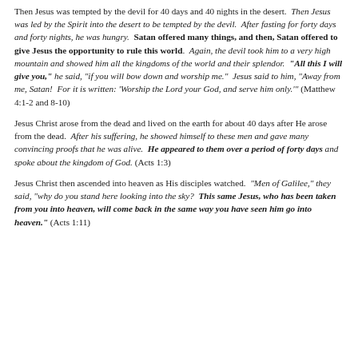Then Jesus was tempted by the devil for 40 days and 40 nights in the desert. Then Jesus was led by the Spirit into the desert to be tempted by the devil. After fasting for forty days and forty nights, he was hungry. Satan offered many things, and then, Satan offered to give Jesus the opportunity to rule this world. Again, the devil took him to a very high mountain and showed him all the kingdoms of the world and their splendor. "All this I will give you," he said, "if you will bow down and worship me." Jesus said to him, "Away from me, Satan! For it is written: 'Worship the Lord your God, and serve him only.'" (Matthew 4:1-2 and 8-10)
Jesus Christ arose from the dead and lived on the earth for about 40 days after He arose from the dead. After his suffering, he showed himself to these men and gave many convincing proofs that he was alive. He appeared to them over a period of forty days and spoke about the kingdom of God. (Acts 1:3)
Jesus Christ then ascended into heaven as His disciples watched. "Men of Galilee," they said, "why do you stand here looking into the sky? This same Jesus, who has been taken from you into heaven, will come back in the same way you have seen him go into heaven." (Acts 1:11)